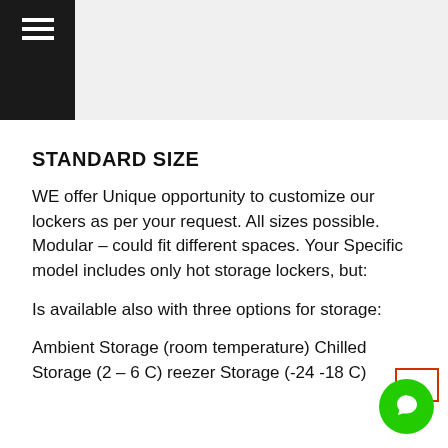≡ (hamburger menu)
STANDARD SIZE
WE offer Unique opportunity to customize our lockers as per your request. All sizes possible. Modular – could fit different spaces. Your Specific model includes only hot storage lockers, but:
Is available also with three options for storage:
Ambient Storage (room temperature) Chilled Storage (2 – 6 C) reezer Storage (-24 -18 C)